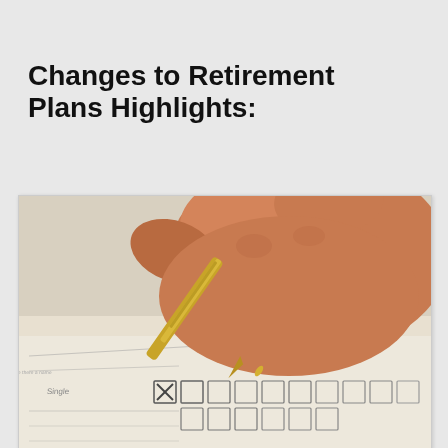Changes to Retirement Plans Highlights:
[Figure (photo): Close-up photograph of a hand holding a gold pen, checking a checkbox on a form with multiple checkboxes. The first checkbox is marked with an X. The form appears to be a checklist or survey document.]